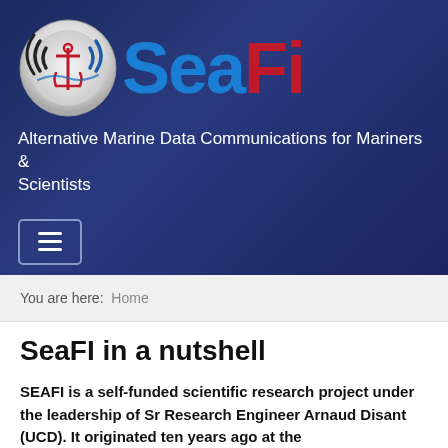[Figure (logo): SeaFI logo: circular emblem with wifi/signal waves and red anchor, next to 'SeaFI' text with 'Sea' in blue and 'Fi' in dark red]
Alternative Marine Data Communications for Mariners & Scientists
[Figure (other): Hamburger navigation menu button with three horizontal white lines on dark navy background]
You are here:  Home
SeaFI in a nutshell
SEAFI is a self-funded scientific research project under the leadership of Sr Research Engineer Arnaud Disant (UCD). It originated ten years ago at the